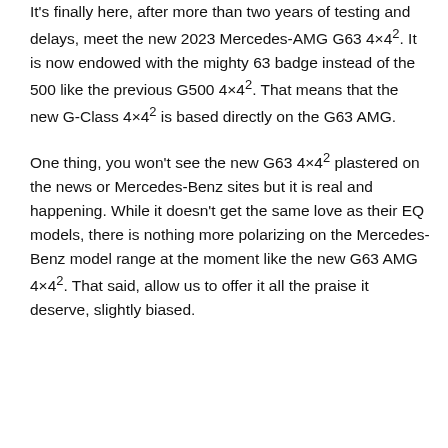It's finally here, after more than two years of testing and delays, meet the new 2023 Mercedes-AMG G63 4×4². It is now endowed with the mighty 63 badge instead of the 500 like the previous G500 4×4². That means that the new G-Class 4×4² is based directly on the G63 AMG.
One thing, you won't see the new G63 4×4² plastered on the news or Mercedes-Benz sites but it is real and happening. While it doesn't get the same love as their EQ models, there is nothing more polarizing on the Mercedes-Benz model range at the moment like the new G63 AMG 4×4². That said, allow us to offer it all the praise it deserve, slightly biased.